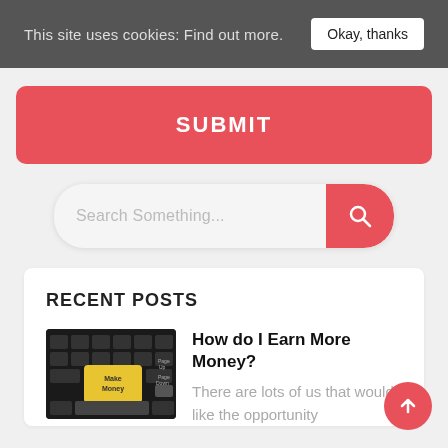This site uses cookies: Find out more. Okay, thanks
SUBMIT
[Figure (screenshot): Search bar with placeholder text 'Search Something...' and a red search button with magnifying glass icon]
RECENT POSTS
[Figure (photo): Keyboard with yellow 'Make Money' key highlighted]
How do I Earn More Money?
There are lots of us that would like the opportunity